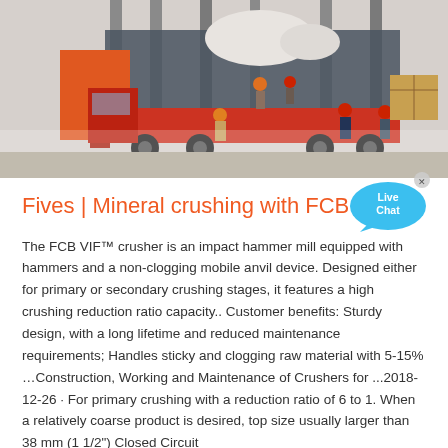[Figure (photo): Industrial scene showing workers in hard hats loading or unloading heavy equipment on a red flatbed truck. Workers are wearing orange and blue helmets. An orange container structure is visible in the background along with tall steel columns.]
Fives | Mineral crushing with FCB VIF ...
The FCB VIF™ crusher is an impact hammer mill equipped with hammers and a non-clogging mobile anvil device. Designed either for primary or secondary crushing stages, it features a high crushing reduction ratio capacity.. Customer benefits: Sturdy design, with a long lifetime and reduced maintenance requirements; Handles sticky and clogging raw material with 5-15% ...Construction, Working and Maintenance of Crushers for ...2018-12-26 · For primary crushing with a reduction ratio of 6 to 1. When a relatively coarse product is desired, top size usually larger than 38 mm (1 1/2") Closed Circuit